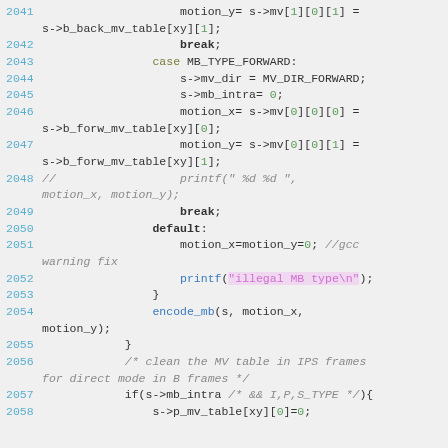[Figure (screenshot): Source code listing showing C code lines 2041-2058, with syntax highlighting: line numbers in blue, keywords in olive/tan, numbers in green, strings in pink/purple, comments in gray italic, function names in blue.]